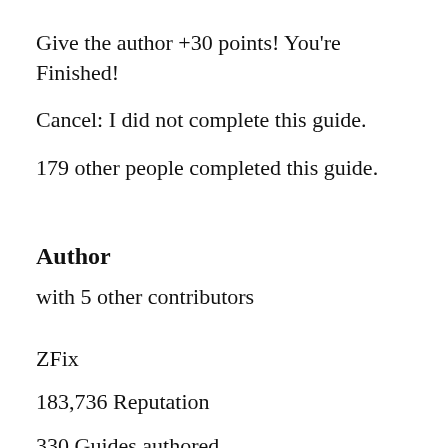Give the author +30 points! You're Finished!
Cancel: I did not complete this guide.
179 other people completed this guide.
Author
with 5 other contributors
ZFix
183,736 Reputation
330 Guides authored